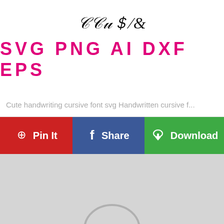[Figure (illustration): Handwritten cursive font sample text in black ink, followed by 'SVG PNG AI DXF EPS' in bold pink/magenta letters on white background]
Cute handwriting cursive font svg Handwritten cursive f...
[Figure (infographic): Three action buttons in a row: 'Pin It' (red with Pinterest icon), 'Share' (blue with Facebook f icon), 'Download' (green with cloud download icon)]
[Figure (illustration): Light grey placeholder image area with a partial circular shape visible at the bottom center]